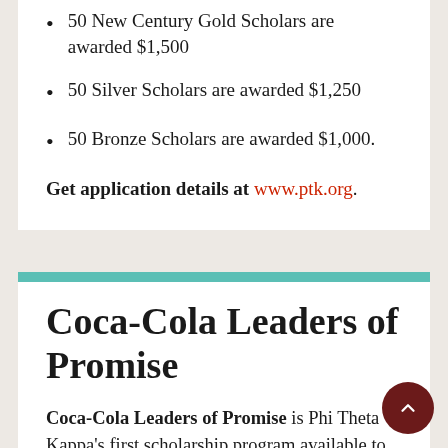50 New Century Gold Scholars are awarded $1,500
50 Silver Scholars are awarded $1,250
50 Bronze Scholars are awarded $1,000.
Get application details at www.ptk.org.
Coca-Cola Leaders of Promise
Coca-Cola Leaders of Promise is Phi Theta Kappa's first scholarship program available to its members to be used during the time they are enrolled